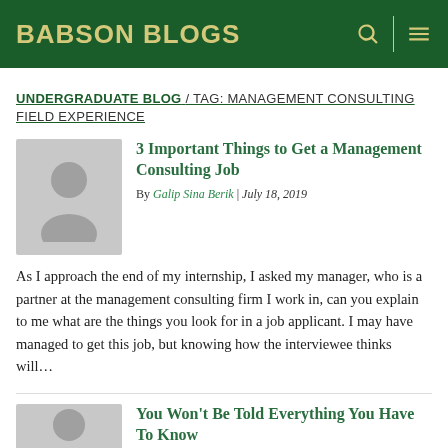BABSON BLOGS
UNDERGRADUATE BLOG / TAG: MANAGEMENT CONSULTING FIELD EXPERIENCE
3 Important Things to Get a Management Consulting Job
By Galip Sina Berik | July 18, 2019
[Figure (photo): Grey placeholder avatar silhouette image]
As I approach the end of my internship, I asked my manager, who is a partner at the management consulting firm I work in, can you explain to me what are the things you look for in a job applicant. I may have managed to get this job, but knowing how the interviewee thinks will…
You Won't Be Told Everything You Have To Know